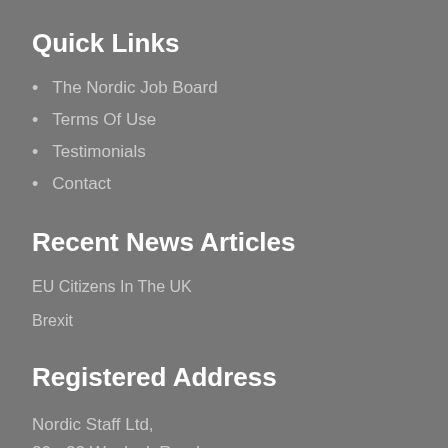Quick Links
The Nordic Job Board
Terms Of Use
Testimonials
Contact
Recent News Articles
EU Citizens In The UK
Brexit
Registered Address
Nordic Staff Ltd,
20 - 22 Wenlock Road,
London,